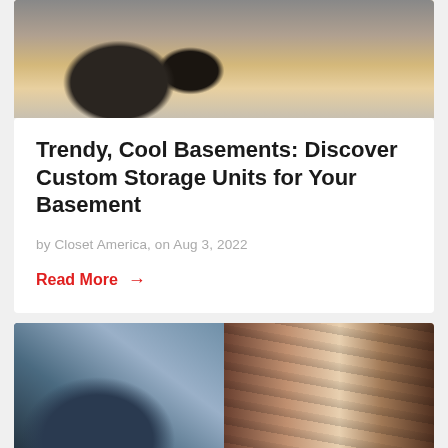[Figure (photo): Top portion of a room with dark leather furniture (chairs/ottomans) on a wooden floor, cropped at top]
Trendy, Cool Basements: Discover Custom Storage Units for Your Basement
by Closet America, on Aug 3, 2022
Read More →
[Figure (photo): Split image: left side shows a blue quilted handbag (Dior-style Lady Dior) with clothing racks in background; right side shows hanging clothes on a rack in a closet]